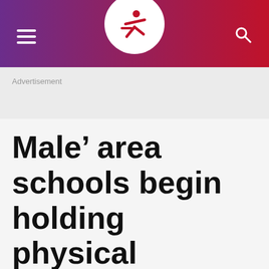Navigation header with hamburger menu, logo, and search icon
Advertisement
Male’ area schools begin holding physical classes on all weekdays